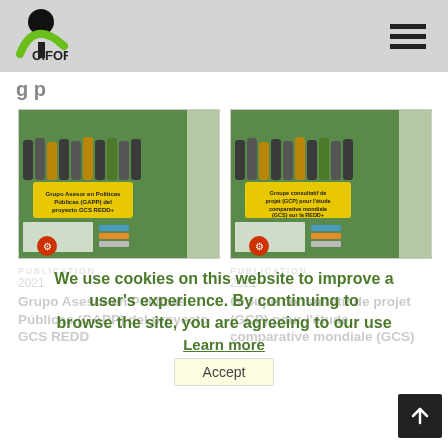CIFOR
g p
[Figure (photo): Cover image of CIFOR publication: Grupo Asesor en Políticas Públicas (GAPP) del proyecto GCS REDD+, showing a group of people standing outdoors in front of green foliage]
PUBLICATION
2021
Grupo Asesor en Políticas Públicas (GAPP) del proyecto GCS REDD
[Figure (photo): Cover image of CIFOR publication: Groupe consultatif de projet (GCP) pour l'étude comparative mondiale (GCS) sur la REDD+, showing a group of people standing outdoors]
PUBLICATION
2021
Groupe consultatif de projet (GCP) pour l'étude comparative mondiale (GCS)
We use cookies on this website to improve a user's experience. By continuing to browse the site, you are agreeing to our use
Learn more
Accept